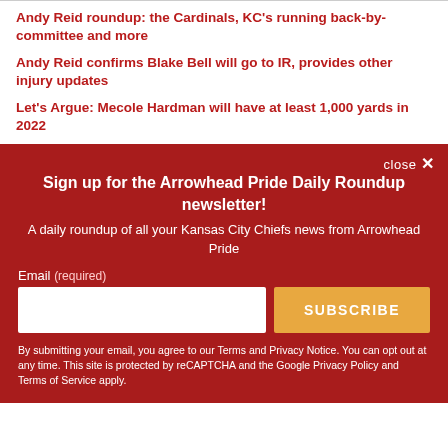Andy Reid roundup: the Cardinals, KC's running back-by-committee and more
Andy Reid confirms Blake Bell will go to IR, provides other injury updates
Let's Argue: Mecole Hardman will have at least 1,000 yards in 2022
close ✕
Sign up for the Arrowhead Pride Daily Roundup newsletter!
A daily roundup of all your Kansas City Chiefs news from Arrowhead Pride
Email (required)
SUBSCRIBE
By submitting your email, you agree to our Terms and Privacy Notice. You can opt out at any time. This site is protected by reCAPTCHA and the Google Privacy Policy and Terms of Service apply.